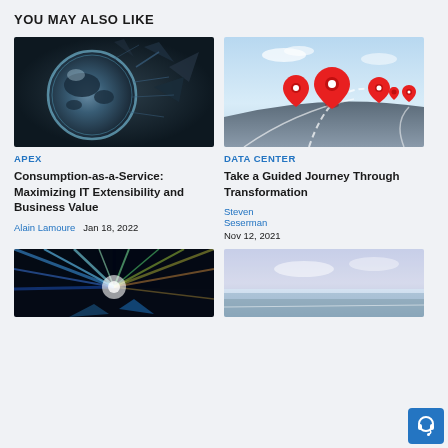YOU MAY ALSO LIKE
[Figure (photo): Metallic globe with shattered glass effect on dark background]
[Figure (photo): Red map pin location markers on a winding road with blue sky]
APEX
DATA CENTER
Consumption-as-a-Service: Maximizing IT Extensibility and Business Value
Take a Guided Journey Through Transformation
Alain Lamoure  Jan 18, 2022
Steven Seserman  Nov 12, 2021
[Figure (photo): Colorful light rays bursting outward with blue and green tones]
[Figure (photo): Aerial view of a road with blue sky and soft clouds]